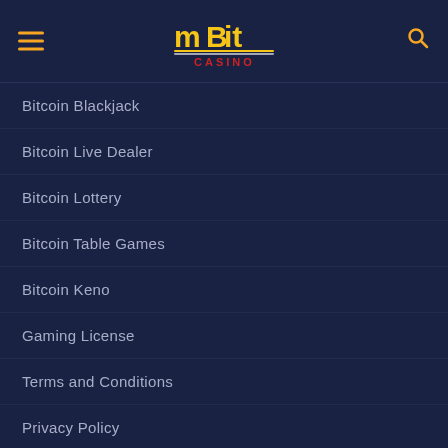[Figure (logo): mBit Casino logo with yellow/gold 'mBit' text and red/white 'CASINO' text below]
Bitcoin Blackjack
Bitcoin Live Dealer
Bitcoin Lottery
Bitcoin Table Games
Bitcoin Keno
Gaming License
Terms and Conditions
Privacy Policy
Bonus Terms & Conditions
Affiliate Terms & Conditions